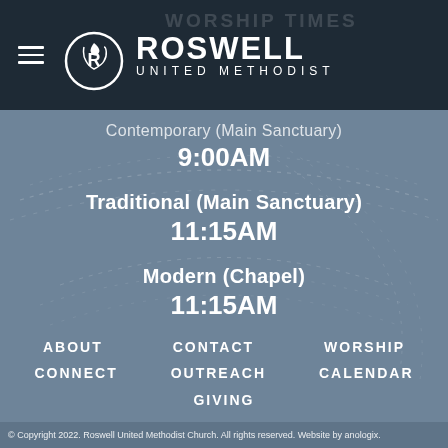ROSWELL UNITED METHODIST
Contemporary (Main Sanctuary)
9:00AM
Traditional (Main Sanctuary)
11:15AM
Modern (Chapel)
11:15AM
ABOUT
CONTACT
WORSHIP
CONNECT
OUTREACH
CALENDAR
GIVING
© Copyright 2022. Roswell United Methodist Church. All rights reserved. Website by anologix.